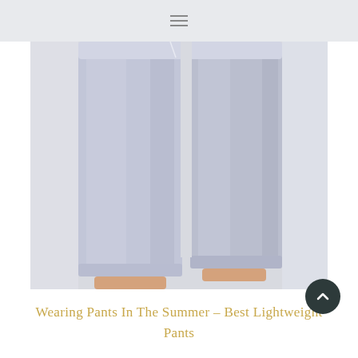≡
[Figure (photo): A person wearing light lavender/grey slim-fit pants with cuffed ankles, photographed from the waist down against a white background.]
Wearing Pants In The Summer – Best Lightweight Pants